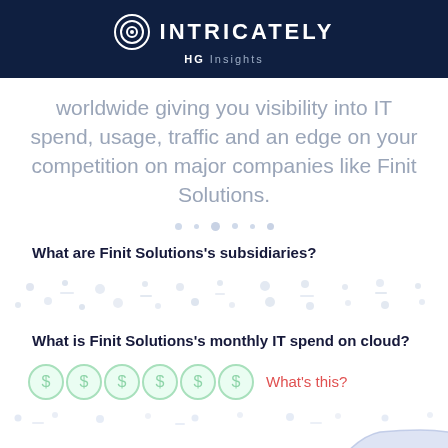INTRICATELY HG Insights
worldwide giving you visibility into IT spend, usage, traffic and an edge on your competition on major companies like Finit Solutions.
What are Finit Solutions's subsidiaries?
[Figure (other): Blurred/redacted dots pattern representing hidden data]
What is Finit Solutions's monthly IT spend on cloud?
[Figure (other): Six dollar-sign circle icons (blurred/redacted) followed by 'What's this?' link in red]
[Figure (area-chart): Blurred area chart showing data trend with light blue/purple shaded area]
What domains does Finit Solutions own?